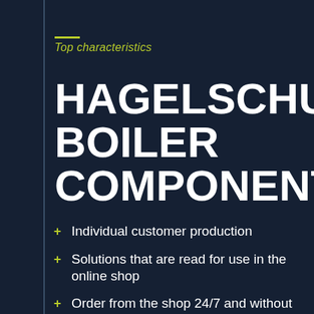Top characteristics
HAGELSCHUER BOILER COMPONENTS
Individual customer production
Solutions that are read for use in the online shop
Order from the shop 24/7 and without